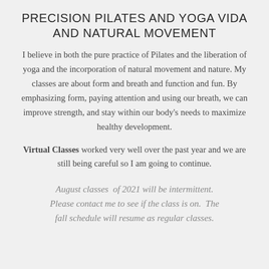PRECISION PILATES AND YOGA VIDA AND NATURAL MOVEMENT
I believe in both the pure practice of Pilates and the liberation of yoga and the incorporation of natural movement and nature. My classes are about form and breath and function and fun. By emphasizing form, paying attention and using our breath, we can improve strength, and stay within our body's needs to maximize healthy development.
Virtual Classes worked very well over the past year and we are still being careful so I am going to continue.
August classes of 2021 will be intermittent. Please contact me to see if the class is on. The fall schedule will resume as regular classes.